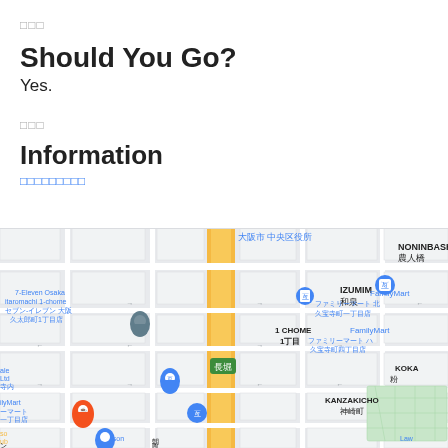□□□
Should You Go?
Yes.
□□□
Information
□□□□□□□□□
[Figure (map): Google Maps screenshot showing Osaka Chuo ward area with streets, FamilyMart locations, 7-Eleven, Lawson stores, and Japanese district names including NONINBASH, IZUMIM, KOKA, KANZAKICHO.]